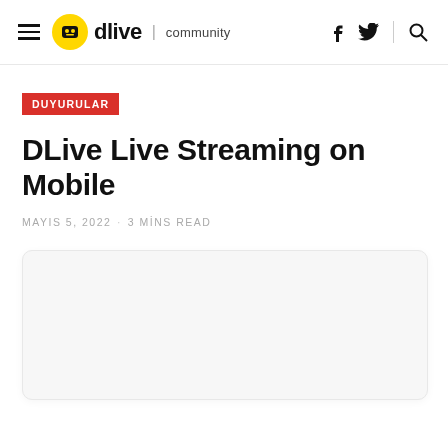dlive | community — navigation bar with hamburger menu, logo, facebook, twitter, search icons
DUYURULAR
DLive Live Streaming on Mobile
MAYIS 5, 2022 · 3 MİNS READ
[Figure (photo): White rounded rectangle image placeholder area below article title]